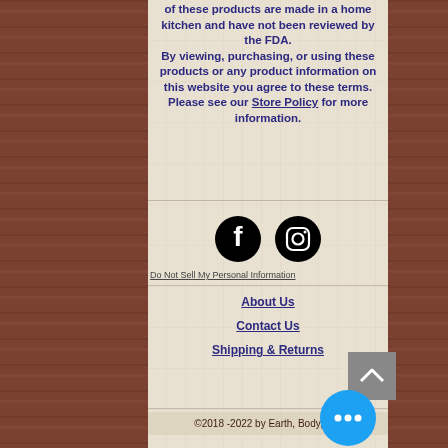of these products are made in a home kitchen and have not been reviewed by the FDA. By viewing, purchasing, or using these products or any product information on this website you agree to these terms. Please see our Store Policy for more information.
[Figure (illustration): Facebook and Instagram social media icons (black circles with white logos)]
Do Not Sell My Personal Information
About Us
Contact Us
Shipping & Returns
©2018 -2022 by Earth, Body, & S...